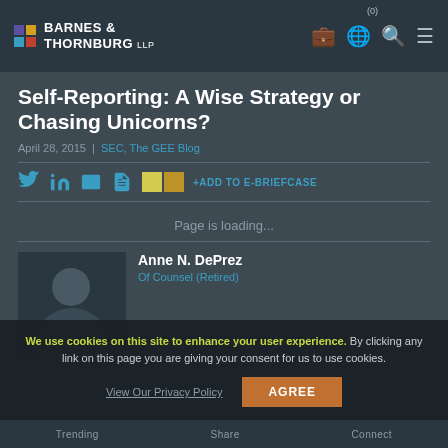BARNES & THORNBURG LLP — navigation bar
Self-Reporting: A Wise Strategy or Chasing Unicorns?
April 28, 2015 | SEC, The GEE Blog
+ADD TO E-BRIEFCASE
Page is loading...
Anne N. DePrez
Of Counsel (Retired)
We use cookies on this site to enhance your user experience. By clicking any link on this page you are giving your consent for us to use cookies.
View Our Privacy Policy   AGREE
Trending   Share   Connect